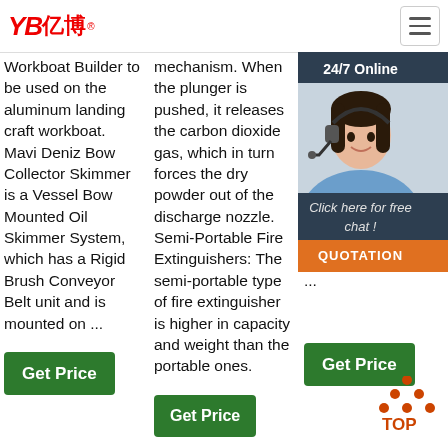YB亿博® [logo] [hamburger menu]
Workboat Builder to be used on the aluminum landing craft workboat. Mavi Deniz Bow Collector Skimmer is a Vessel Bow Mounted Oil Skimmer System, which has a Rigid Brush Conveyor Belt unit and is mounted on ...
mechanism. When the plunger is pushed, it releases the carbon dioxide gas, which in turn forces the dry powder out of the discharge nozzle. Semi-Portable Fire Extinguishers: The semi-portable type of fire extinguisher is higher in capacity and weight than the portable ones.
SOLAS Chapter VI, Reg... para... enfo... stat... pac... pac... carg... not... a sh... ...
[Figure (screenshot): 24/7 Online customer service chat widget with woman wearing headset photo, 'Click here for free chat!' text, and orange QUOTATION button]
[Figure (logo): TOP back-to-top arrow icon with orange/red dots forming upward triangle and 'TOP' text below]